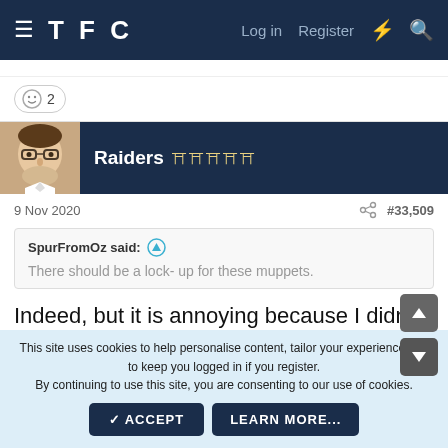TFC  Log in  Register
😄 2
Raiders 🏆🏆🏆🏆🏆
9 Nov 2020  #33,509
SpurFromOz said: ↑

There should be a lock- up for these muppets.
Indeed, but it is annoying because I didn't visit my dad and his dog in Hyde Park yesterday because I didn't
This site uses cookies to help personalise content, tailor your experience and to keep you logged in if you register.
By continuing to use this site, you are consenting to our use of cookies.
✓ ACCEPT   LEARN MORE...